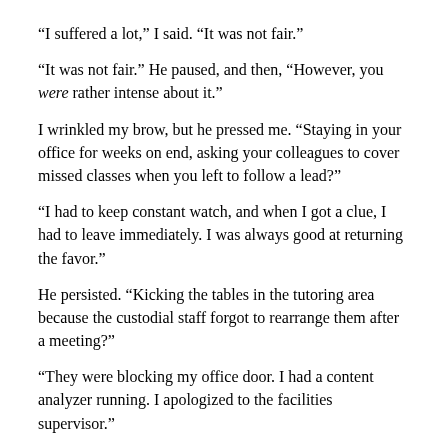“I suffered a lot,” I said. “It was not fair.”
“It was not fair.” He paused, and then, “However, you were rather intense about it.”
I wrinkled my brow, but he pressed me. “Staying in your office for weeks on end, asking your colleagues to cover missed classes when you left to follow a lead?”
“I had to keep constant watch, and when I got a clue, I had to leave immediately. I was always good at returning the favor.”
He persisted. “Kicking the tables in the tutoring area because the custodial staff forgot to rearrange them after a meeting?”
“They were blocking my office door. I had a content analyzer running. I apologized to the facilities supervisor.”
He was relentless. “Grabbing the Dean in a headlock and threatening to throw him out the window because he advised you to seek professional help?”
“He had been an amateur wrestler, so it was not like I was picking on a weaker guy.”